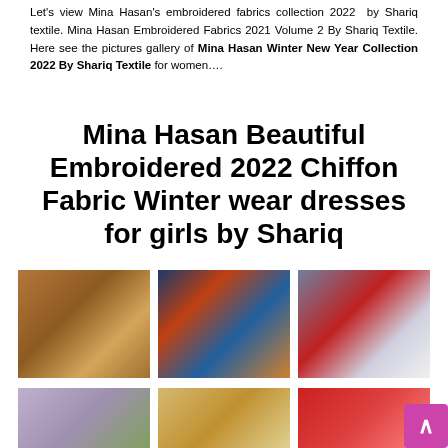Let's view Mina Hasan's embroidered fabrics collection 2022 by Shariq textile. Mina Hasan Embroidered Fabrics 2021 Volume 2 By Shariq Textile. Here see the pictures gallery of Mina Hasan Winter New Year Collection 2022 By Shariq Textile for women….
Mina Hasan Beautiful Embroidered 2022 Chiffon Fabric Winter wear dresses for girls by Shariq
[Figure (photo): Fashion photo of a woman in an embroidered orange/brown outfit, outdoor setting]
[Figure (photo): Fashion photo of a woman in a dark blue and red embroidered outfit, outdoor setting]
[Figure (photo): Fashion photo of a woman in a grey and red floral embroidered outfit, sitting outdoors]
[Figure (photo): Fashion photo of a woman in a floral light-colored embroidered outfit, green outdoor setting]
[Figure (photo): Fashion photo of a woman in a beige/gold embroidered outfit, outdoor staircase setting]
[Figure (photo): Fashion photo of a woman in a red embroidered outfit, outdoor green setting]